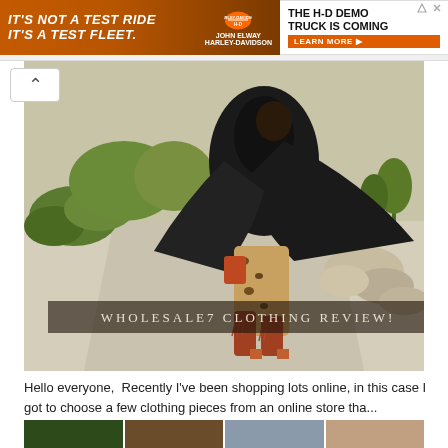[Figure (other): Harley-Davidson advertisement banner. Left side: orange/brown background with white italic text 'IT'S NOT A TEST RIDE IT'S A TEST FLEET' and HD logo with John Elway Harley-Davidson text. Right side: white background with bold text 'THE H-D DEMO TRUCK IS COMING' and orange 'LEARN MORE' button.]
[Figure (photo): Fashion blog hero image. A woman wearing a black cape/poncho over leopard print leggings and rust-colored fringe ankle boots with block heels, standing on a wide pathway in a desert landscape with green shrubs, yucca plants and rocky boulders. The image has a semi-transparent dark overlay with the text 'WHOLESALE7 CLOTHING REVIEW!' in spaced serif letters.]
Hello everyone,  Recently I've been shopping lots online, in this case I got to choose a few clothing pieces from an online store tha...
[Figure (photo): Bottom strip of three small thumbnail images partially visible at the bottom of the page.]